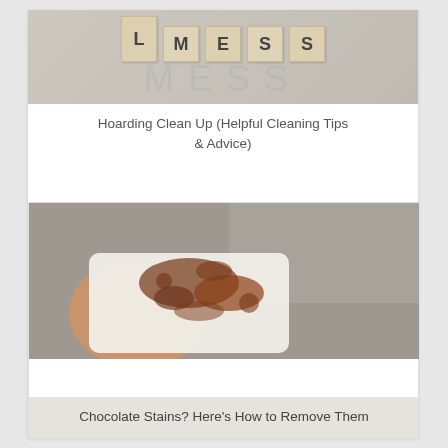[Figure (photo): Scrabble-style wooden letter blocks spelling 'L' and 'MESS' overlaid on a light background, with large faded grey text 'MESS' behind the blocks]
Hoarding Clean Up (Helpful Cleaning Tips & Advice)
[Figure (photo): A hand holding a white cloth stained with chocolate/brown stains against a grey concrete background]
Chocolate Stains? Here's How to Remove Them